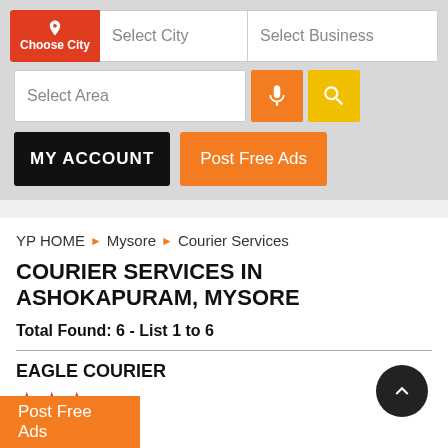[Figure (screenshot): Navigation bar with Choose City button, Select City input, Select Business input, Select Area input, microphone button, search button, MY ACCOUNT button, Post Free Ads button]
YP HOME ▶ Mysore ▶ Courier Services
COURIER SERVICES IN ASHOKAPURAM, MYSORE
Total Found: 6 - List 1 to 6
EAGLE COURIER
★ ★ ★
Post Free Ads